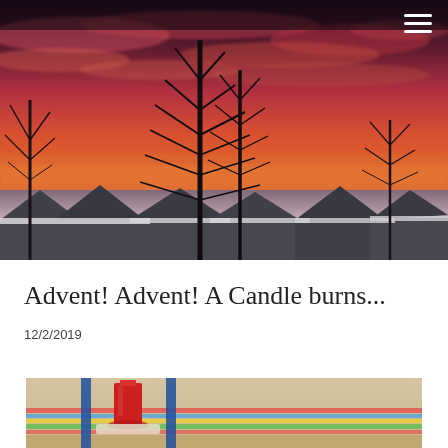[Figure (photo): Wide panoramic photo of a winter sunset sky with dramatic pink and red clouds, bare tree silhouettes in the center, and snow-covered rooftops of suburban houses in the lower portion. A hamburger menu icon (three white horizontal lines) is visible in the upper right corner.]
Advent! Advent! A Candle burns...
12/2/2019
[Figure (photo): Partial photo showing what appears to be an advent wreath or candle arrangement on a colorful tablecloth, with a red candle visible and blue vertical elements, shot from slightly above.]